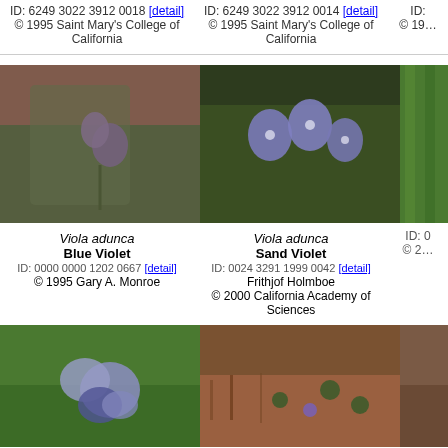ID: 6249 3022 3912 0018 [detail]
© 1995 Saint Mary's College of California
ID: 6249 3022 3912 0014 [detail]
© 1995 Saint Mary's College of California
[Figure (photo): Viola adunca - Blue Violet flower with purple petals against green leaves and brown mulch background]
Viola adunca
Blue Violet
ID: 0000 0000 1202 0667 [detail]
© 1995 Gary A. Monroe
[Figure (photo): Viola adunca - Sand Violet, multiple purple flowers with rain drops against dark green leaves]
Viola adunca
Sand Violet
ID: 0024 3291 1999 0042 [detail]
Frithjof Holmboe
© 2000 California Academy of Sciences
[Figure (photo): Viola adunca - Blue Violet, large purple violet flower in green grass]
[Figure (photo): Viola adunca - Blue Violet, small purple flower amid brown pine needles and green leaves]
Viola adunca
Blue Violet